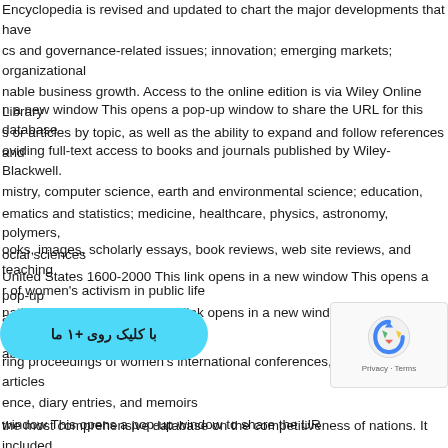Encyclopedia is revised and updated to chart the major developments that have cs and governance-related issues; innovation; emerging markets; organizational nable business growth. Access to the online edition is via Wiley Online Library s or articles by topic, as well as the ability to expand and follow references and
n a new window This opens a pop-up window to share the URL for this database oviding full-text access to books and journals published by Wiley-Blackwell. mistry, computer science, earth and environmental science; education, ematics and statistics; medicine, healthcare, physics, astronomy, polymers, ocial sciences United States 1600-2000 This link opens in a new window This opens a pop-up abase
ooks, images, scholarly essays, book reviews, web site reviews, and teaching r of women's activism in public life national: 1840 to present This link opens in a new window This opens a pop-up abase
ring proceedings of women's international conferences, books, pamphlets, articles ence, diary entries, and memoirs window This opens a pop-up window to share the UR
the most comprehensive database on the competitiveness of nations. It included d Competitiveness Yearbook since 1989. World Competitiveness is a field of